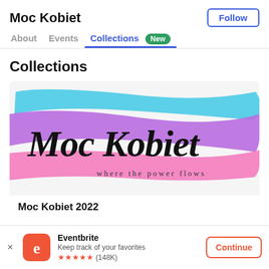Moc Kobiet
Follow
About   Events   Collections New
Collections
[Figure (logo): Moc Kobiet logo with colorful brush strokes in cyan, purple, and pink, script text reading 'Moc Kobiet' and subtitle 'where the power flows']
Moc Kobiet 2022
Eventbrite
Keep track of your favorites
★★★★★ (148K)
Continue